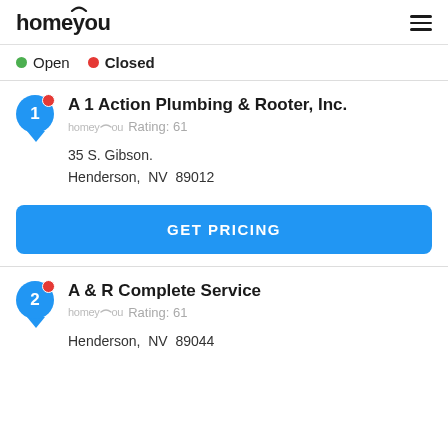homeyou
Open   Closed
A 1 Action Plumbing & Rooter, Inc.
homeyou Rating: 61
35 S. Gibson.
Henderson, NV  89012
GET PRICING
A & R Complete Service
homeyou Rating: 61
Henderson, NV  89044